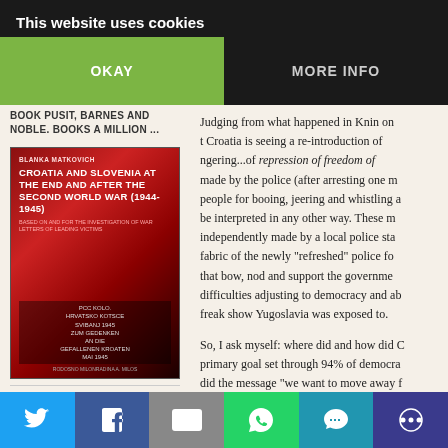This website uses cookies
OKAY | MORE INFO
BOOK PUSIT, BARNES AND NOBLE. BOOKS A MILLION ...
[Figure (photo): Book cover: Croatia and Slovenia at the End and After the Second World War (1944-1945) by Blanka Matkovich. Red and black cover with German text at bottom.]
LIVING CELLS – JULIENNE EDEN BUSIC
Judging from what happened in Knin on... t Croatia is seeing a re-introduction of... ngering...of repression of freedom of... made by the police (after arresting one m... people for booing, jeering and whistling a... be interpreted in any other way. These m... independently made by a local police sta... fabric of the newly "refreshed" police fo... that bow, nod and support the governme... difficulties adjusting to democracy and ab... freak show Yugoslavia was exposed to.

So, I ask myself: where did and how did C... primary goal set through 94% of democra... did the message "we want to move away f... communism and move towards democrac... years especially? Why have so many Cro...